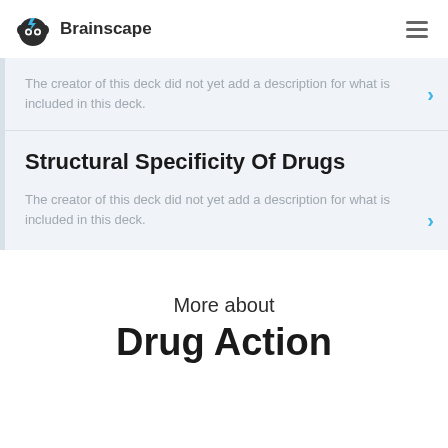Brainscape
The creator of this deck did not yet add a description for what is included in this deck.
Structural Specificity Of Drugs
The creator of this deck did not yet add a description for what is included in this deck.
More about
Drug Action